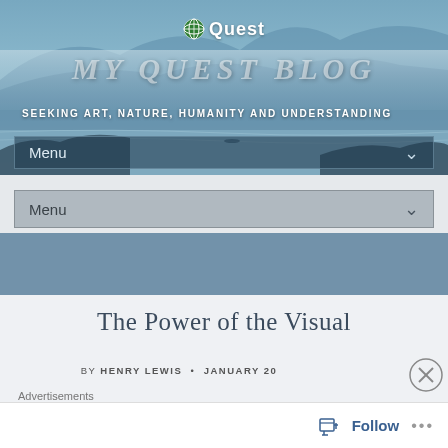[Figure (screenshot): Blog header banner with misty blue mountain/water landscape background]
Quest — MY QUEST BLOG
SEEKING ART, NATURE, HUMANITY AND UNDERSTANDING
Menu
Menu
The Power of the Visual
by HENRY LEWIS • JANUARY 20
Advertisements
Getting your eyes on the